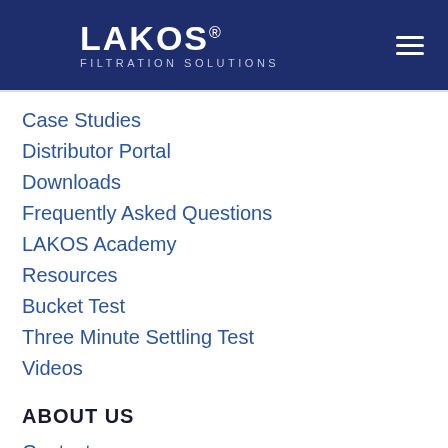LAKOS FILTRATION SOLUTIONS
Case Studies
Distributor Portal
Downloads
Frequently Asked Questions
LAKOS Academy
Resources
Bucket Test
Three Minute Settling Test
Videos
ABOUT US
Contact
Careers